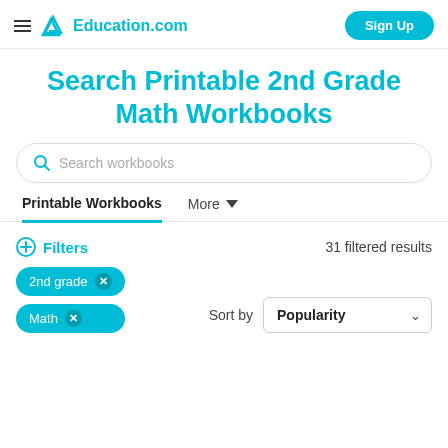Education.com — Sign Up
Search Printable 2nd Grade Math Workbooks
Search workbooks
Printable Workbooks   More
Filters   31 filtered results
2nd grade ×
Math ×
Sort by   Popularity